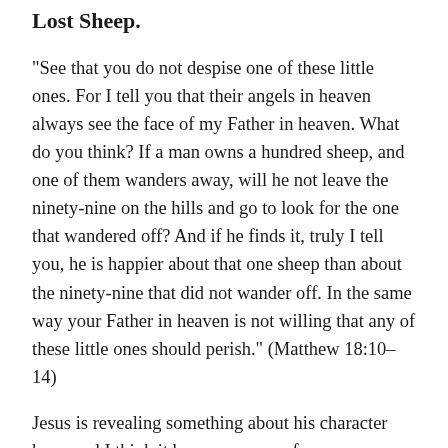…only I'm thinking of the Parable of the Lost Sheep.
“See that you do not despise one of these little ones. For I tell you that their angels in heaven always see the face of my Father in heaven. What do you think? If a man owns a hundred sheep, and one of them wanders away, will he not leave the ninety-nine on the hills and go to look for the one that wandered off? And if he finds it, truly I tell you, he is happier about that one sheep than about the ninety-nine that did not wander off. In the same way your Father in heaven is not willing that any of these little ones should perish.” (Matthew 18:10–14)
Jesus is revealing something about his character here, and I think it bears on some of